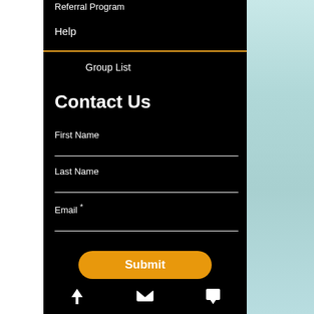Referral Program
Help
Group List
Contact Us
First Name
Last Name
Email *
Submit